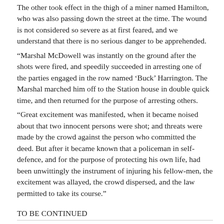The other took effect in the thigh of a miner named Hamilton, who was also passing down the street at the time. The wound is not considered so severe as at first feared, and we understand that there is no serious danger to be apprehended.
“Marshal McDowell was instantly on the ground after the shots were fired, and speedily succeeded in arresting one of the parties engaged in the row named ‘Buck’ Harrington. The Marshal marched him off to the Station house in double quick time, and then returned for the purpose of arresting others.
“Great excitement was manifested, when it became noised about that two innocent persons were shot; and threats were made by the crowd against the person who committed the deed. But after it became known that a policeman in self-defence, and for the purpose of protecting his own life, had been unwittingly the instrument of injuring his fellow-men, the excitement was allayed, the crowd dispersed, and the law permitted to take its course.”
TO BE CONTINUED